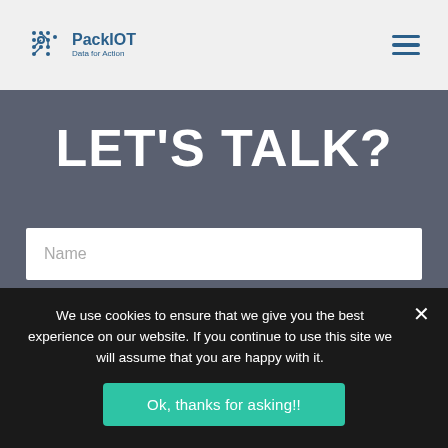PackIOT Data for Action
LET'S TALK?
[Figure (screenshot): Name input field (empty text form field with placeholder 'Name')]
[Figure (screenshot): Second empty input field (partially visible)]
We use cookies to ensure that we give you the best experience on our website. If you continue to use this site we will assume that you are happy with it.
Ok, thanks for asking!!